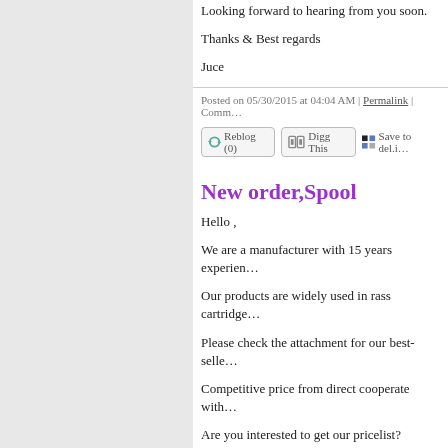Looking forward to hearing from you soon.
Thanks & Best regards
Juce
Posted on 05/30/2015 at 04:04 AM | Permalink | Comm...
New order,Spool
Hello ,
We are a manufacturer with 15 years experien...
Our products are widely used in rass cartridge...
Please check the attachment for our best-selle...
Competitive price from direct cooperate with...
Are you interested to get our pricelist?
Best wishes
Joyce
Tel:86-576-87443737 / 18857651618